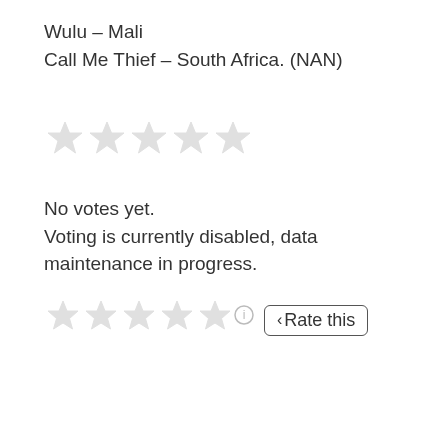Wulu – Mali
Call Me Thief – South Africa. (NAN)
[Figure (other): Five light gray empty star rating icons (display stars, not interactive)]
No votes yet.
Voting is currently disabled, data maintenance in progress.
[Figure (other): Five light gray empty star rating icons with an info icon circle and a 'Rate this' button with left-pointing chevron]